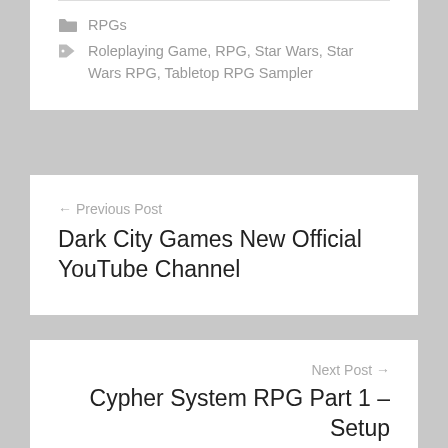RPGs
Roleplaying Game, RPG, Star Wars, Star Wars RPG, Tabletop RPG Sampler
← Previous Post
Dark City Games New Official YouTube Channel
Next Post →
Cypher System RPG Part 1 – Setup